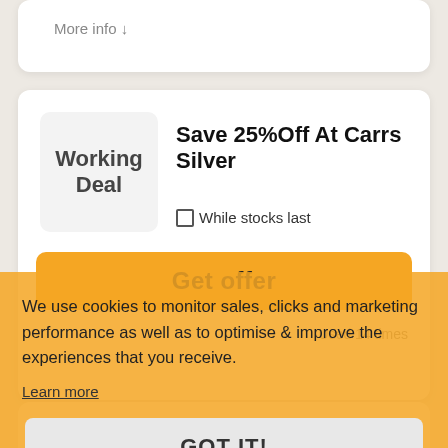More info ↓
Working Deal
Save 25%Off At Carrs Silver
While stocks last
Get offer
Used 14 times
We use cookies to monitor sales, clicks and marketing performance as well as to optimise & improve the experiences that you receive.
Learn more
GOT IT!
Quaich Bowl 3" Sterling Silver From £233 At Carrs
Hot